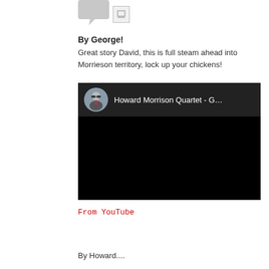[Figure (screenshot): Chat bubble icon and small square icon at the top]
By George!
Great story David, this is full steam ahead into Morrieson territory, lock up your chickens!
[Figure (screenshot): YouTube video embed showing Howard Morrison Quartet thumbnail with circular avatar and video title 'Howard Morrison Quartet - G...' on dark background]
From YouTube
By Howard....